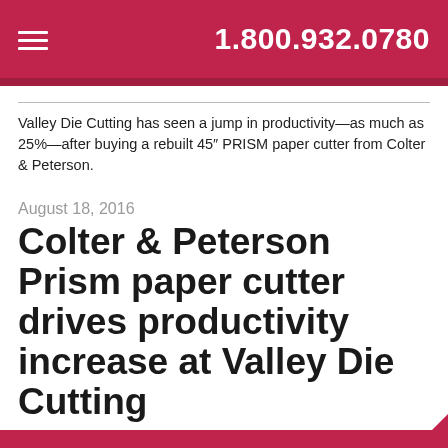1.800.932.0780
Valley Die Cutting has seen a jump in productivity—as much as 25%—after buying a rebuilt 45″ PRISM paper cutter from Colter & Peterson.
August 18, 2016
Colter & Peterson Prism paper cutter drives productivity increase at Valley Die Cutting